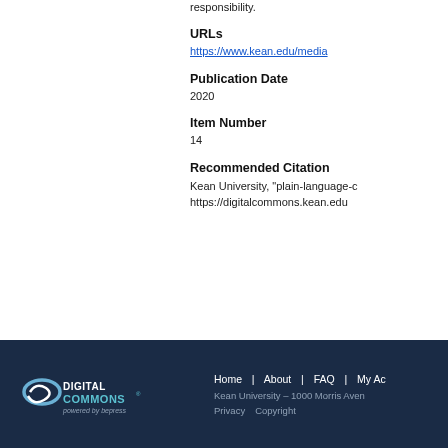responsibility.
URLs
https://www.kean.edu/media
Publication Date
2020
Item Number
14
Recommended Citation
Kean University, "plain-language-c"
https://digitalcommons.kean.edu
Home | About | FAQ | My Ac
Kean University - 1000 Morris Aven
Privacy   Copyright